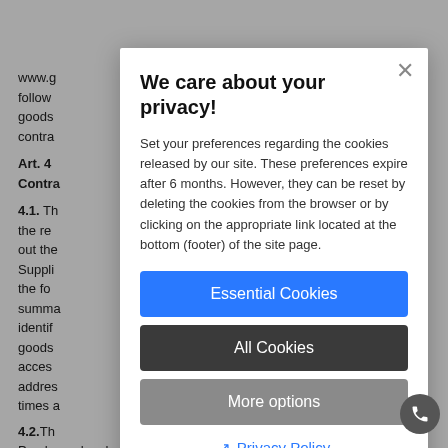Navigation bar with hamburger menu and counter badge showing 0
www.g... follow... goods... contra...
Art. 4 Contra...
4.1. The... out the... Suppli... the fo... summa... identif... goods... acces... addres... times a...
4.2.Th... Purchaser he shall send a confirmation email or display a
We care about your privacy!
Set your preferences regarding the cookies released by our site. These preferences expire after 6 months. However, they can be reset by deleting the cookies from the browser or by clicking on the appropriate link located at the bottom (footer) of the site page.
Essential Cookies
All Cookies
More options
Privacy Policy